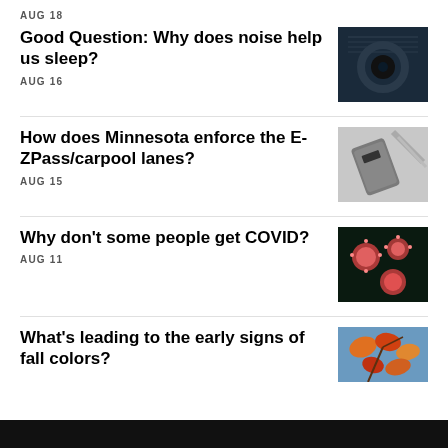AUG 18
Good Question: Why does noise help us sleep?
AUG 16
[Figure (photo): Close-up photo of a dark fan grille]
How does Minnesota enforce the E-ZPass/carpool lanes?
AUG 15
[Figure (photo): Photo of an E-ZPass transponder device]
Why don't some people get COVID?
AUG 11
[Figure (photo): Microscopic image of COVID virus particles against dark background]
What's leading to the early signs of fall colors?
[Figure (photo): Photo of colorful autumn leaves on tree branches]